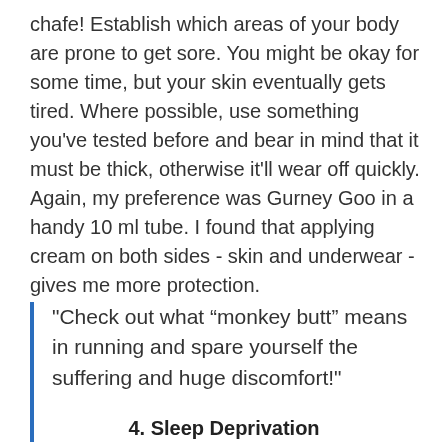chafe! Establish which areas of your body are prone to get sore. You might be okay for some time, but your skin eventually gets tired. Where possible, use something you've tested before and bear in mind that it must be thick, otherwise it'll wear off quickly. Again, my preference was Gurney Goo in a handy 10 ml tube. I found that applying cream on both sides - skin and underwear - gives me more protection.
"Check out what “monkey butt” means in running and spare yourself the suffering and huge discomfort!"
4. Sleep Deprivation